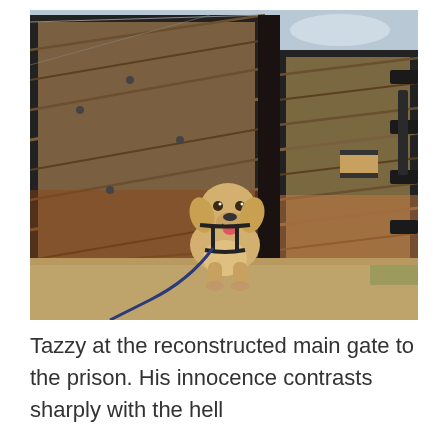[Figure (photo): A yellow Labrador dog wearing a black harness and connected to a blue leash, sitting on sandy/dirt ground in front of large reconstructed wooden prison gate doors. The gate is made of diagonal weathered wood planks with black metal hardware and hinges. The background shows an open field and overcast sky.]
Tazzy at the reconstructed main gate to the prison. His innocence contrasts sharply with the hell